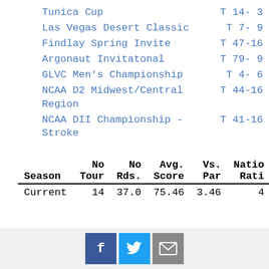Tunica Cup   T 14- 3
Las Vegas Desert Classic   T  7- 9
Findlay Spring Invite   T 47-16
Argonaut Invitatonal   T 79- 9
GLVC Men's Championship   T  4- 6
NCAA D2 Midwest/Central Region   T 44-16
NCAA DII Championship - Stroke   T 41-16
| Season | No Tour | No Rds. | Avg. Score | Vs. Par | National Rating |
| --- | --- | --- | --- | --- | --- |
| Current | 14 | 37.0 | 75.46 | 3.46 | 4 |